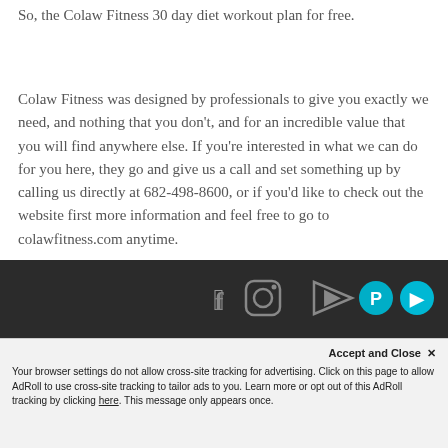So, the Colaw Fitness 30 day diet workout plan for free.
Colaw Fitness was designed by professionals to give you exactly we need, and nothing that you don't, and for an incredible value that you will find anywhere else. If you're interested in what we can do for you here, they go and give us a call and set something up by calling us directly at 682-498-8600, or if you'd like to check out the website first more information and feel free to go to colawfitness.com anytime.
[Figure (other): Dark footer bar with social media icons: Facebook, Instagram, YouTube, Parler (teal circle), and another teal circle icon]
Accept and Close ✕
Your browser settings do not allow cross-site tracking for advertising. Click on this page to allow AdRoll to use cross-site tracking to tailor ads to you. Learn more or opt out of this AdRoll tracking by clicking here. This message only appears once.